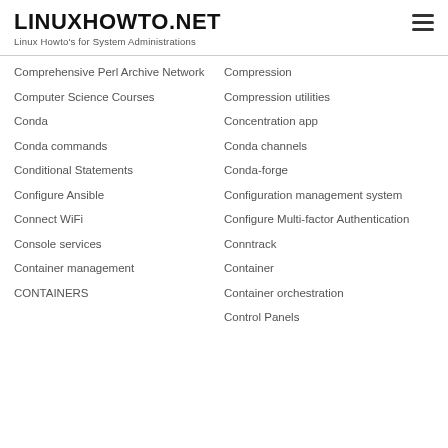LINUXHOWTO.NET
Linux Howto's for System Administrations
Comprehensive Perl Archive Network
Computer Science Courses
Conda
Conda commands
Conditional Statements
Configure Ansible
Connect WiFi
Console services
Container management
CONTAINERS
Compression
Compression utilities
Concentration app
Conda channels
Conda-forge
Configuration management system
Configure Multi-factor Authentication
Conntrack
Container
Container orchestration
Control Panels